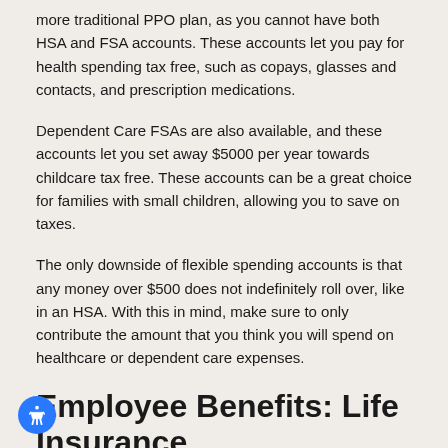more traditional PPO plan, as you cannot have both HSA and FSA accounts. These accounts let you pay for health spending tax free, such as copays, glasses and contacts, and prescription medications.
Dependent Care FSAs are also available, and these accounts let you set away $5000 per year towards childcare tax free. These accounts can be a great choice for families with small children, allowing you to save on taxes.
The only downside of flexible spending accounts is that any money over $500 does not indefinitely roll over, like in an HSA. With this in mind, make sure to only contribute the amount that you think you will spend on healthcare or dependent care expenses.
Employee Benefits: Life Insurance
Life insurance is a product that will pay out a lump sum to a designated beneficiary upon your death. Many employers offer a small amount of